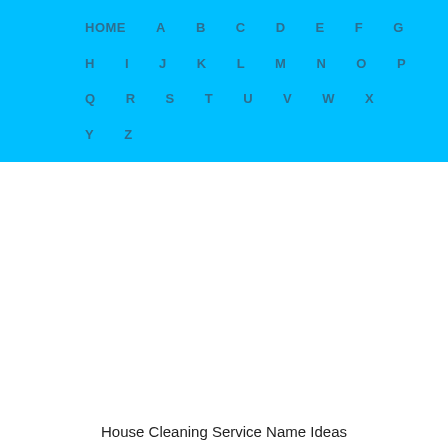HOME A B C D E F G H I J K L M N O P Q R S T U V W X Y Z
House Cleaning Service Name Ideas